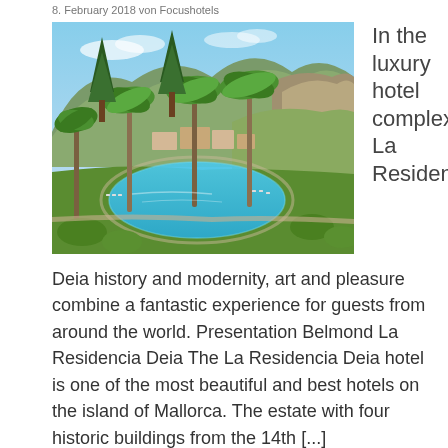8. February 2018 von Focushotels
[Figure (photo): Aerial/elevated view of a luxury hotel pool complex La Residencia surrounded by palm trees and mountains in Deia, Mallorca]
In the luxury hotel complex La Residencia
Deia history and modernity, art and pleasure combine a fantastic experience for guests from around the world. Presentation Belmond La Residencia Deia The La Residencia Deia hotel is one of the most beautiful and best hotels on the island of Mallorca. The estate with four historic buildings from the 14th [...]